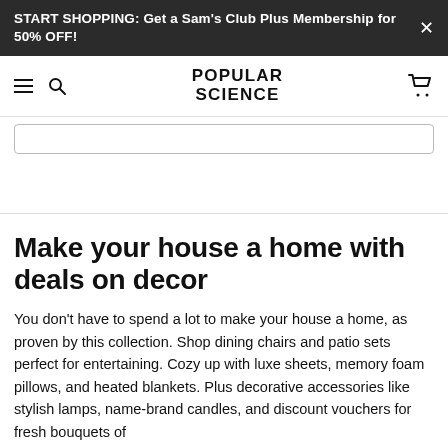START SHOPPING: Get a Sam's Club Plus Membership for 50% OFF!
POPULAR SCIENCE
Make your house a home with deals on decor
You don't have to spend a lot to make your house a home, as proven by this collection. Shop dining chairs and patio sets perfect for entertaining. Cozy up with luxe sheets, memory foam pillows, and heated blankets. Plus decorative accessories like stylish lamps, name-brand candles, and discount vouchers for fresh bouquets of